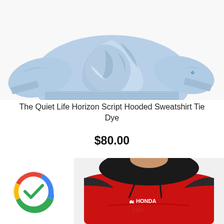[Figure (photo): Tie-dye light blue hooded sweatshirt (The Quiet Life Horizon Script) shown folded, top portion visible]
The Quiet Life Horizon Script Hooded Sweatshirt Tie Dye
$80.00
[Figure (photo): Man wearing red and black Fox Racing Honda hoodie, upper body visible]
[Figure (logo): Google verified checkmark badge (multicolor circle with green checkmark)]